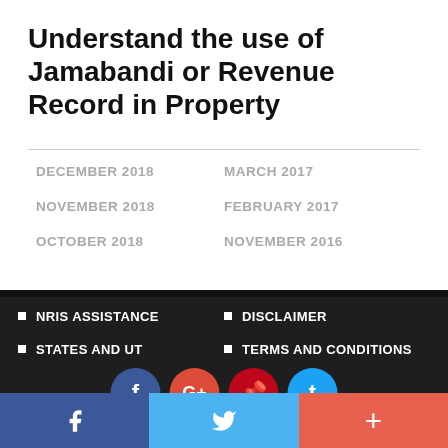Understand the use of Jamabandi or Revenue Record in Property
DECEMBER 2018
MARCH 2017
NOVEMBER 2018
FEBRUARY 2017
OCTOBER 2018
NOVEMBER 2016
NRIS ASSISTANCE
DISCLAIMER
STATES AND UT
TERMS AND CONDITIONS
PRIVACY POLICY